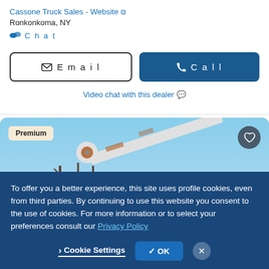Cassone Truck Sales - Website [external link]
Ronkonkoma, NY
Chat
Email
Call
Video chat with this dealer
[Figure (photo): A boom/crane truck photographed outdoors against a blue sky, with a large white crane arm extended. A 'Premium' badge appears in the top-left and a heart/favorite icon in the top-right.]
To offer you a better experience, this site uses profile cookies, even from third parties. By continuing to use this website you consent to the use of cookies. For more information or to select your preferences consult our Privacy Policy
Cookie Settings
OK